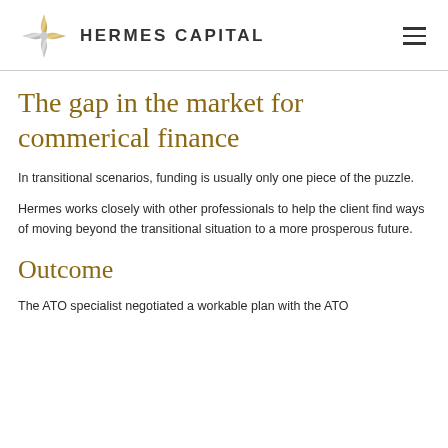HERMES CAPITAL
The gap in the market for commerical finance
In transitional scenarios, funding is usually only one piece of the puzzle.
Hermes works closely with other professionals to help the client find ways of moving beyond the transitional situation to a more prosperous future.
Outcome
The ATO specialist negotiated a workable plan with the ATO